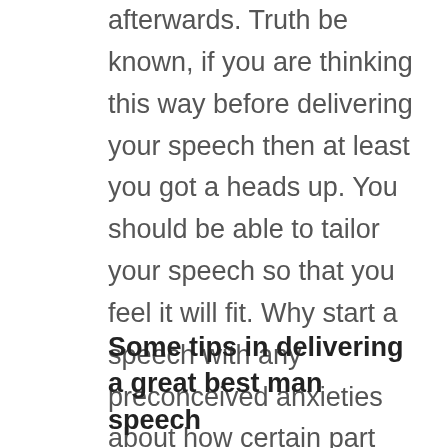afterwards. Truth be known, if you are thinking this way before delivering your speech then at least you got a heads up. You should be able to tailor your speech so that you feel it will fit. Why start a speech with any preconceived anxieties about how certain part will go? Perhaps run some of the content past a friend or colleague and get them to sense check it.
Some tips in delivering a great best man speech